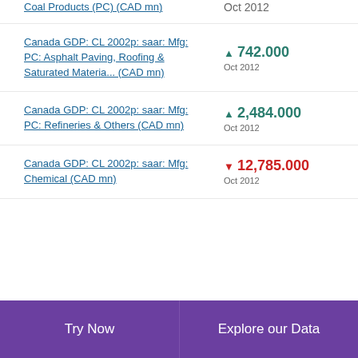Coal Products (PC) (CAD mn) | Oct 2012
Canada GDP: CL 2002p: saar: Mfg: PC: Asphalt Paving, Roofing & Saturated Materia... (CAD mn) | ▲ 742.000 | Oct 2012
Canada GDP: CL 2002p: saar: Mfg: PC: Refineries & Others (CAD mn) | ▲ 2,484.000 | Oct 2012
Canada GDP: CL 2002p: saar: Mfg: Chemical (CAD mn) | ▼ 12,785.000 | Oct 2012
Try Now | Explore our Data